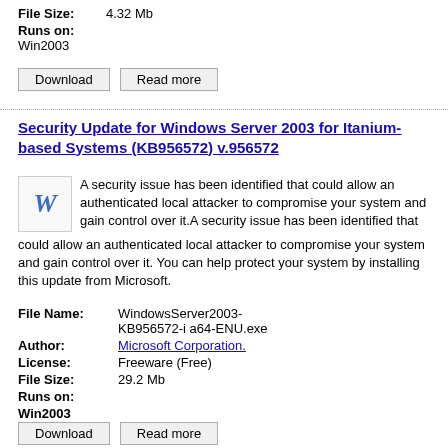File Size: 4.32 Mb
Runs on:
Win2003
Download   Read more
Security Update for Windows Server 2003 for Itanium-based Systems (KB956572)  v.956572
A security issue has been identified that could allow an authenticated local attacker to compromise your system and gain control over it.A security issue has been identified that could allow an authenticated local attacker to compromise your system and gain control over it. You can help protect your system by installing this update from Microsoft.
File Name: WindowsServer2003-KB956572-i a64-ENU.exe
Author: Microsoft Corporation.
License: Freeware (Free)
File Size: 29.2 Mb
Runs on:
Win2003
Download   Read more